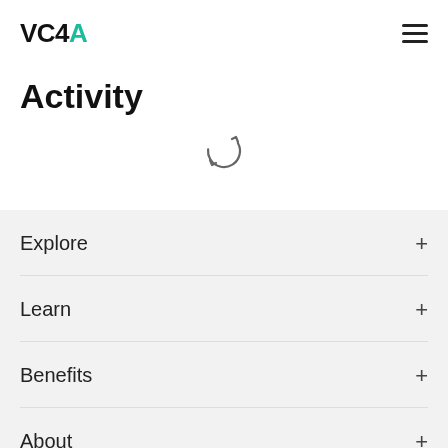VC4A
Activity
[Figure (illustration): Circular refresh/loading spinner icon in gray]
Explore
Learn
Benefits
About